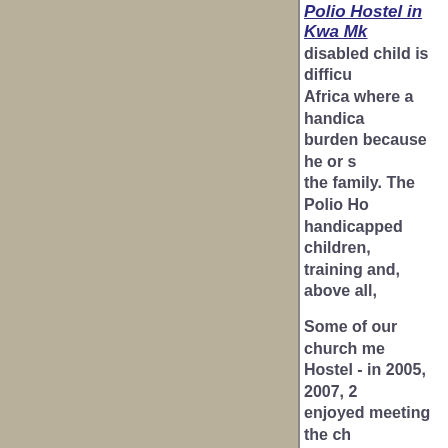Polio Hostel in Kwa Mk
disabled child is difficu Africa where a handica burden because he or s the family. The Polio Ho handicapped children, training and, above all,
Some of our church me Hostel - in 2005, 2007, 2 enjoyed meeting the ch getting to know them. W where many of them ha fitted with callipers, giv given a deeper insight i being done.
The younger children a encouraged, if they hav education. The hostel h and our parishioners ha sewing machines whic those young people no skills.